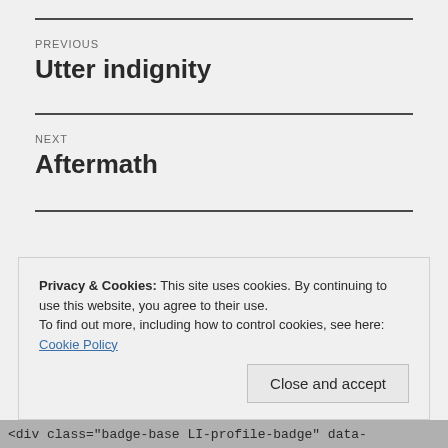PREVIOUS
Utter indignity
NEXT
Aftermath
Privacy & Cookies: This site uses cookies. By continuing to use this website, you agree to their use.
To find out more, including how to control cookies, see here:
Cookie Policy
Close and accept
<div class="badge-base LI-profile-badge" data-